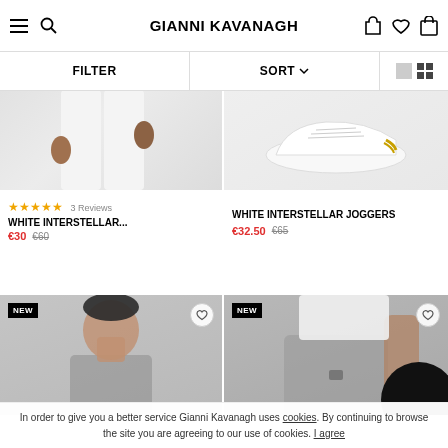GIANNI KAVANAGH
FILTER   SORT
[Figure (photo): White clothing product photo (White Interstellar item), cropped showing lower torso with white pants and hands]
★★★★★ 3 Reviews
WHITE INTERSTELLAR...
€30  €60
[Figure (photo): White sneakers with gold accent on grey background (Interstellar Joggers product photo)]
WHITE INTERSTELLAR JOGGERS
€32.50  €65
[Figure (photo): NEW badge product - man wearing grey jacket, face visible, bottom card left]
[Figure (photo): NEW badge product - grey shorts on man with tattoos, bottom card right]
In order to give you a better service Gianni Kavanagh uses cookies. By continuing to browse the site you are agreeing to our use of cookies. I agree